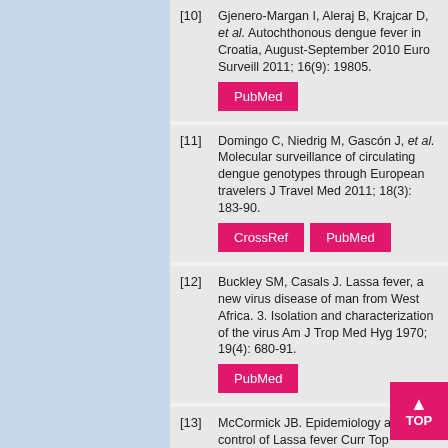[10] Gjenero-Margan I, Aleraj B, Krajcar D, et al. Autochthonous dengue fever in Croatia, August-September 2010 Euro Surveill 2011; 16(9): 19805.
[11] Domingo C, Niedrig M, Gascón J, et al. Molecular surveillance of circulating dengue genotypes through European travelers J Travel Med 2011; 18(3): 183-90.
[12] Buckley SM, Casals J. Lassa fever, a new virus disease of man from West Africa. 3. Isolation and characterization of the virus Am J Trop Med Hyg 1970; 19(4): 680-91.
[13] McCormick JB. Epidemiology and control of Lassa fever Curr Top Microbiol Immunol 1987; 134: 69-78.